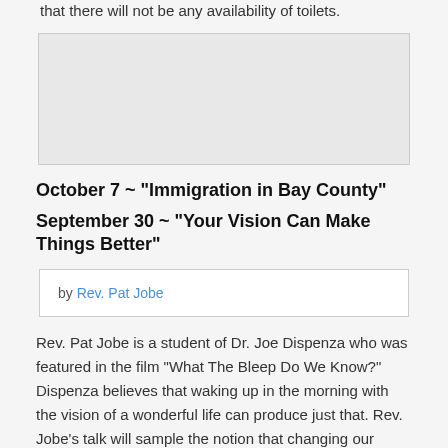that there will not be any availability of toilets.
[Figure (photo): Image placeholder box, light gray background]
October 7 ~ “Immigration in Bay County”
September 30 ~ “Your Vision Can Make Things Better”
by Rev. Pat Jobe
Rev. Pat Jobe is a student of Dr. Joe Dispenza who was featured in the film “What The Bleep Do We Know?” Dispenza believes that waking up in the morning with the vision of a wonderful life can produce just that. Rev. Jobe’s talk will sample the notion that changing our vision can open new doors and windows and maybe even a sunroof in our lives.